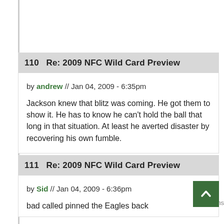110   Re: 2009 NFC Wild Card Preview
by andrew // Jan 04, 2009 - 6:35pm
Jackson knew that blitz was coming. He got them to show it. He has to know he can't hold the ball that long in that situation. At least he averted disaster by recovering his own fumble.
111   Re: 2009 NFC Wild Card Preview
by Sid // Jan 04, 2009 - 6:36pm
bad called pinned the Eagles back